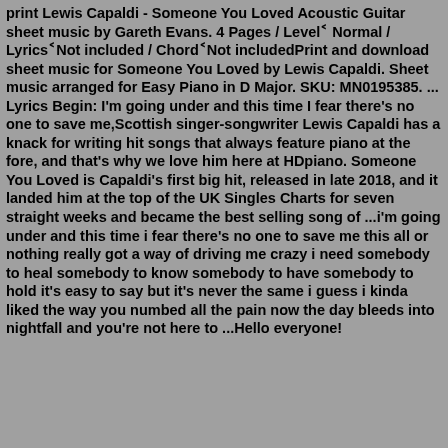print Lewis Capaldi - Someone You Loved Acoustic Guitar sheet music by Gareth Evans. 4 Pages / LevelÂ Normal / LyricsÂNot included / ChordÂNot includedPrint and download sheet music for Someone You Loved by Lewis Capaldi. Sheet music arranged for Easy Piano in D Major. SKU: MN0195385. ... Lyrics Begin: I'm going under and this time I fear there's no one to save me,Scottish singer-songwriter Lewis Capaldi has a knack for writing hit songs that always feature piano at the fore, and that's why we love him here at HDpiano. Someone You Loved is Capaldi's first big hit, released in late 2018, and it landed him at the top of the UK Singles Charts for seven straight weeks and became the best selling song of ...i'm going under and this time i fear there's no one to save me this all or nothing really got a way of driving me crazy i need somebody to heal somebody to know somebody to have somebody to hold it's easy to say but it's never the same i guess i kinda liked the way you numbed all the pain now the day bleeds into nightfall and you're not here to ...Hello everyone!